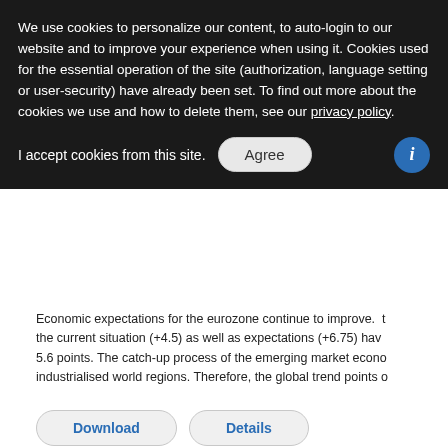We use cookies to personalize our content, to auto-login to our website and to improve your experience when using it. Cookies used for the essential operation of the site (authorization, language setting or user-security) have already been set. To find out more about the cookies we use and how to delete them, see our privacy policy.
I accept cookies from this site.
Economic expectations for the eurozone continue to improve. the current situation (+4.5) as well as expectations (+6.75) have 5.6 points. The catch-up process of the emerging market econo industrialised world regions. Therefore, the global trend points
Download   Details
August 2016 results
Uploaded: 07.08.16
File Size: 426 KB
Chinese glimmers of hope
Economic expectations are no longer negatively affected by the